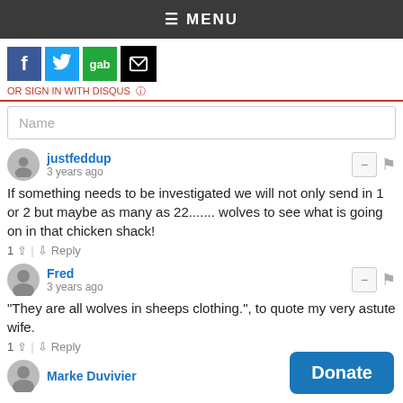≡ MENU
[Figure (screenshot): Social share icons: Facebook, Twitter, Gab, Email]
OR SIGN IN WITH DISQUS
Name
justfeddup
3 years ago
If something needs to be investigated we will not only send in 1 or 2 but maybe as many as 22....... wolves to see what is going on in that chicken shack!
1 ▲ | ▼ Reply
Fred
3 years ago
"They are all wolves in sheeps clothing.", to quote my very astute wife.
1 ▲ | ▼ Reply
Marke Duvivier